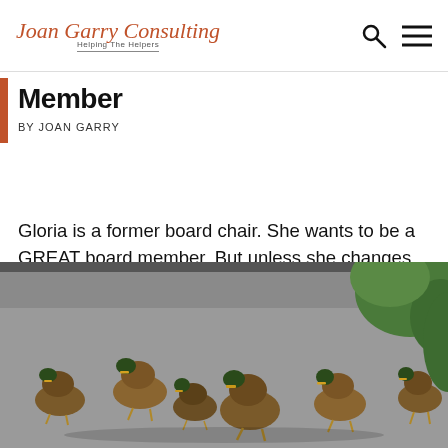Joan Garry Consulting — Helping The Helpers
Member
BY JOAN GARRY
Gloria is a former board chair. She wants to be a GREAT board member. But unless she changes her approach, her board will never get its act together.
[Figure (photo): A group of mallard ducks walking on a gray pavement surface with green foliage visible in the upper right corner.]